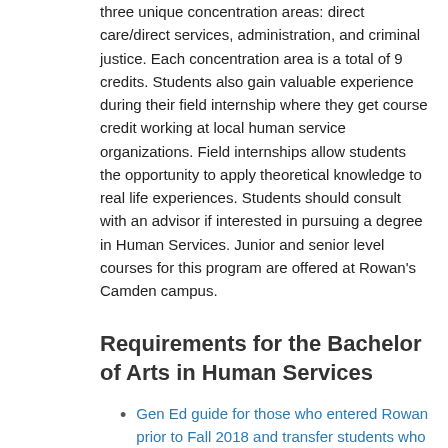three unique concentration areas: direct care/direct services, administration, and criminal justice. Each concentration area is a total of 9 credits. Students also gain valuable experience during their field internship where they get course credit working at local human service organizations. Field internships allow students the opportunity to apply theoretical knowledge to real life experiences. Students should consult with an advisor if interested in pursuing a degree in Human Services. Junior and senior level courses for this program are offered at Rowan's Camden campus.
Requirements for the Bachelor of Arts in Human Services
Gen Ed guide for those who entered Rowan prior to Fall 2018 and transfer students who entered prior to Fall 2021
Rowan Core guide for Freshman who entered Fall 2018-Summer 2021 (PDF)
Program guide for ALL students who entered Fall